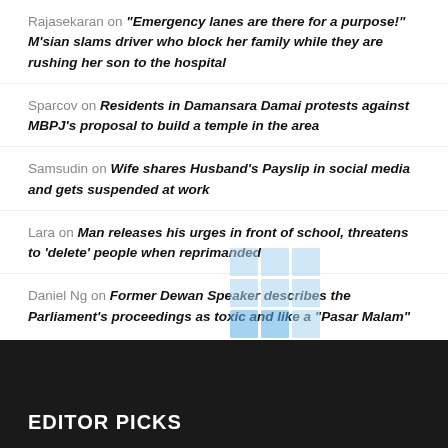Rajasekaran on “Emergency lanes are there for a purpose!” M’sian slams driver who block her family while they are rushing her son to the hospital
Sparcov on Residents in Damansara Damai protests against MBPJ’s proposal to build a temple in the area
Samsudin on Wife shares Husband’s Payslip in social media and gets suspended at work
Lara on Man releases his urges in front of school, threatens to ‘delete’ people when reprimanded
Daniel Ng on Former Dewan Speaker describes the Parliament’s proceedings as toxic and like a “Pasar Malam”
EDITOR PICKS